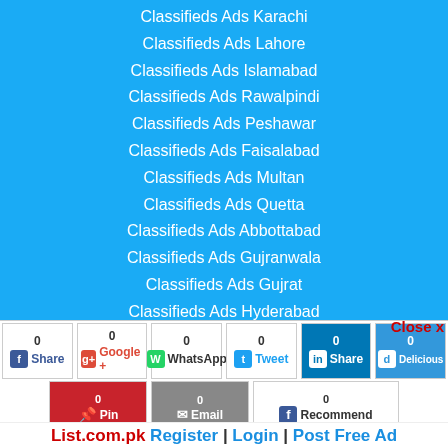Classifieds Ads Karachi
Classifieds Ads Lahore
Classifieds Ads Islamabad
Classifieds Ads Rawalpindi
Classifieds Ads Peshawar
Classifieds Ads Faisalabad
Classifieds Ads Multan
Classifieds Ads Quetta
Classifieds Ads Abbottabad
Classifieds Ads Gujranwala
Classifieds Ads Gujrat
Classifieds Ads Hyderabad
Close x
0 Share | 0 Google + | 0 WhatsApp | 0 Tweet | 0 Share | 0 Delicious
0 Pin | 0 Email | 0 Recommend
List.com.pk Register | Login | Post Free Ad